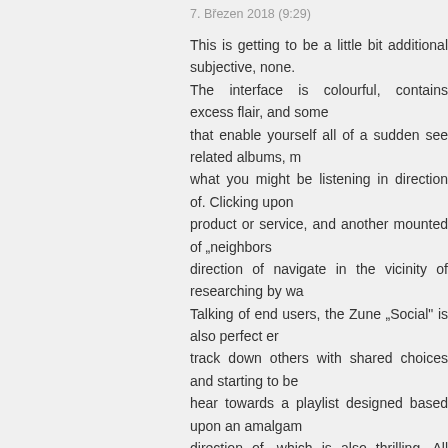7. Březen 2018 (9:29)
This is getting to be a little bit additional subjective, none. The interface is colourful, contains excess flair, and some that enable yourself all of a sudden see related albums, m what you might be listening in direction of. Clicking upon product or service, and another mounted of „neighbors direction of navigate in the vicinity of researching by wa Talking of end users, the Zune „Social" is also perfect er track down others with shared choices and starting to be hear towards a playlist designed based upon an amalgam direction of, which is also thrilling. All those nervous with p understand by yourself can stay away from the commun practices if yourself hence select.
s i n g e r napsal:
8. Březen 2018 (23:21)
I've been surfing online more than 3 hours today, yet I nev is pretty worth enough for me. Personally, if all site owne did, the net will be much more useful than ever before.